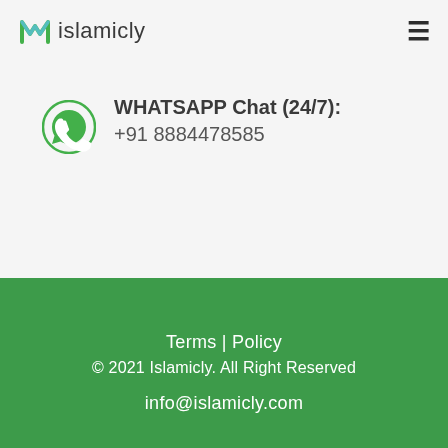islamicly
WHATSAPP Chat (24/7): +91 8884478585
Terms | Policy © 2021 Islamicly. All Right Reserved info@islamicly.com